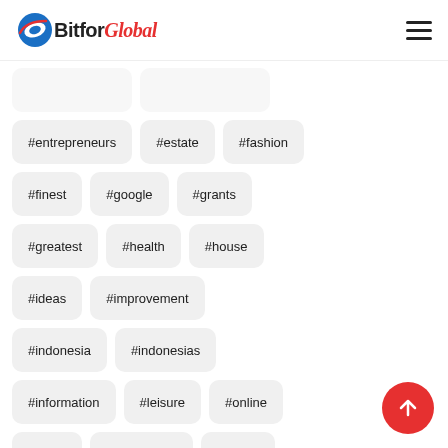Bitfor Global
#entrepreneurs
#estate
#fashion
#finest
#google
#grants
#greatest
#health
#house
#ideas
#improvement
#indonesia
#indonesias
#information
#leisure
#online
#plans
#powerpoint
#prices